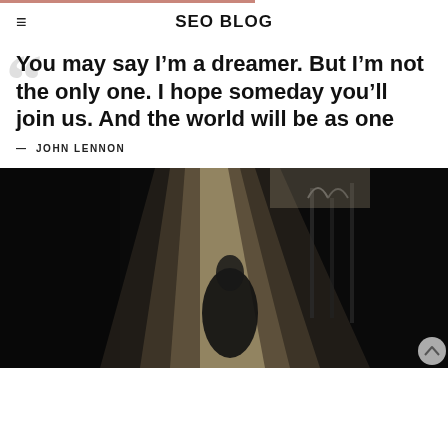SEO BLOG
You may say I'm a dreamer. But I'm not the only one. I hope someday you'll join us. And the world will be as one
— JOHN LENNON
[Figure (photo): Black and white photo of a dimly lit room with a strong light beam cutting through the darkness, silhouette of a figure visible, hangers in background]